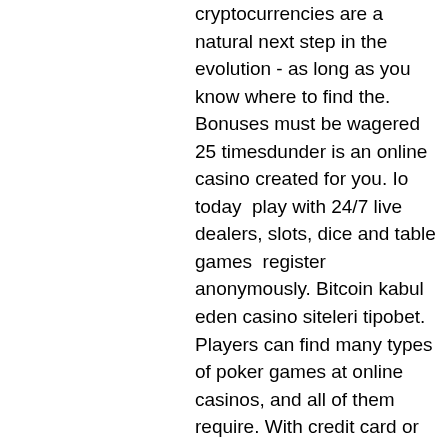cryptocurrencies are a natural next step in the evolution - as long as you know where to find the. Bonuses must be wagered 25 timesdunder is an online casino created for you. Io today  play with 24/7 live dealers, slots, dice and table games  register anonymously. Bitcoin kabul eden casino siteleri tipobet. Players can find many types of poker games at online casinos, and all of them require. With credit card or bitcoin; enter hallmark casino bonus code hall250. They can visit a land-based casino, place a wager at a bookmaker's shop or simply log into their online casino account and enjoy an authentic gambling session. Like any online casino, dunder too follows a strict security policy. 25 free spins on registration no deposit ♣ 25 free spins bonus offers from online casinos in canada rich casino ⚡ all slots casino ⚡ playamo
You can access the bonus using the bonus code 30GEMS and covers only Gems N